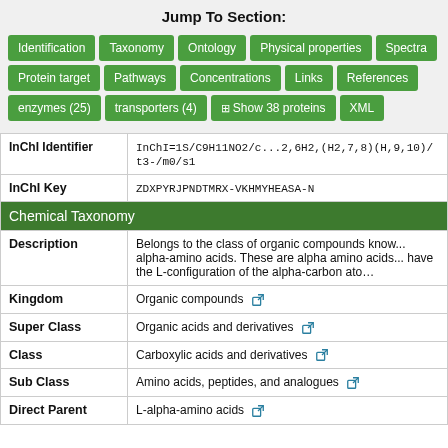Jump To Section:
Identification | Taxonomy | Ontology | Physical properties | Spectra | Protein target | Pathways | Concentrations | Links | References | enzymes (25) | transporters (4) | Show 38 proteins | XML
| InChI Identifier | InChI=1S/C9H11NO2/c...2,6H2,(H2,7,8)(H,9,10)/t3-/m0/s1 |
| InChI Key | ZDXPYRJPNDTMRX-VKHMYHEASA-N |
| Chemical Taxonomy |  |
| Description | Belongs to the class of organic compounds known as alpha-amino acids. These are alpha amino acids... have the L-configuration of the alpha-carbon atom |
| Kingdom | Organic compounds |
| Super Class | Organic acids and derivatives |
| Class | Carboxylic acids and derivatives |
| Sub Class | Amino acids, peptides, and analogues |
| Direct Parent | L-alpha-amino acids |